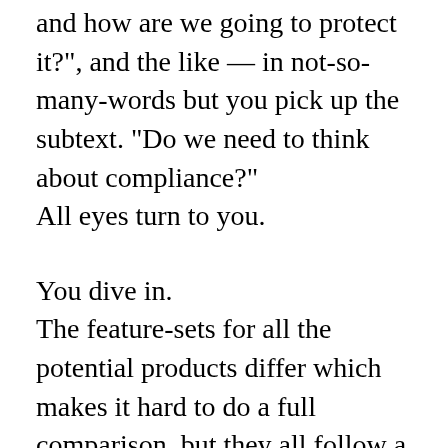and how are we going to protect it?", and the like — in not-so-many-words but you pick up the subtext. “Do we need to think about compliance?"
All eyes turn to you.
You dive in.
The feature-sets for all the potential products differ which makes it hard to do a full comparison, but they all follow a similar thread of functionality — they’re in the same space after all. Some vendors have compliance with recognized security standards. Others have provided technical documentation that exceeds anything you would see